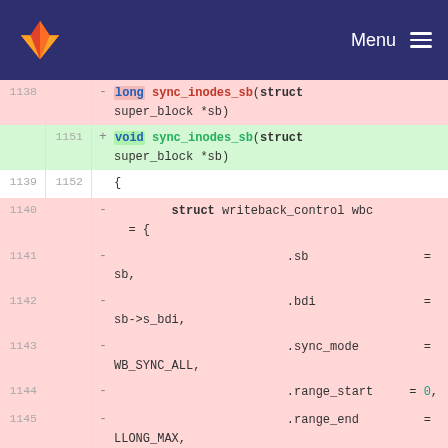GitLab navigation bar with logo and Menu
Code diff view showing changes to sync_inodes_sb function signature from returning long to void, and removal of writeback_control initialization block including .sb, .bdi, .sync_mode, .range_start, .range_end fields, nr_to_write, and a comment /* doesn't actually matter */